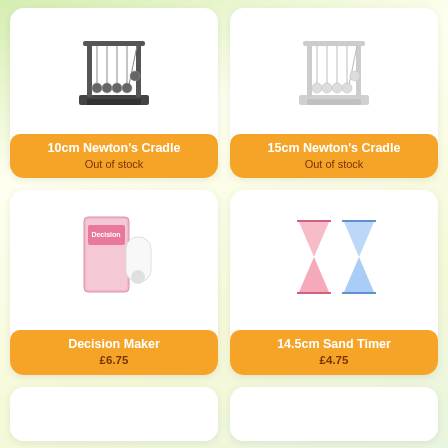[Figure (photo): 10cm Newton's Cradle product image - dark/silver colored]
10cm Newton's Cradle
Out of stock
[Figure (photo): 15cm Newton's Cradle product image - white/light colored]
15cm Newton's Cradle
Out of stock
[Figure (photo): Decision Maker product image - pink box]
Decision Maker
£6.75
[Figure (photo): 14.5cm Sand Timer product image - pink and blue hourglasses]
14.5cm Sand Timer
£4.75
[Figure (photo): Partial product card bottom left]
[Figure (photo): Partial product card bottom right]